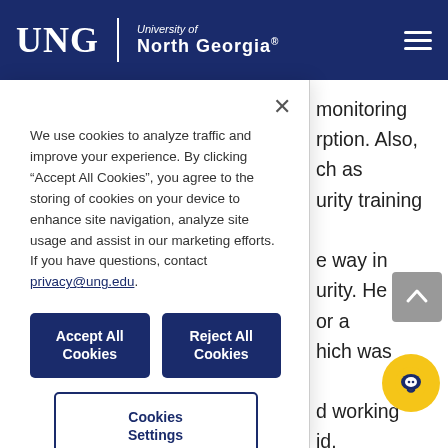UNG | University of North Georgia
We use cookies to analyze traffic and improve your experience. By clicking “Accept All Cookies”, you agree to the storing of cookies on your device to enhance site navigation, analyze site usage and assist in our marketing efforts. If you have questions, contact privacy@ung.edu.
Accept All Cookies | Reject All Cookies | Cookies Settings
monitoring
rption. Also,
ch as
urity training

e way in
urity. He
or a
hich was

d working
id.
e pr...
ificat...
for UNG to